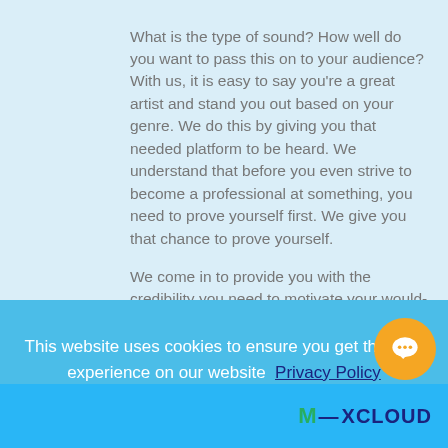What is the type of sound? How well do you want to pass this on to your audience? With us, it is easy to say you're a great artist and stand you out based on your genre. We do this by giving you that needed platform to be heard. We understand that before you even strive to become a professional at something, you need to prove yourself first. We give you that chance to prove yourself.

We come in to provide you with the credibility you need to motivate your would-be audience that you are worth 3 minutes of their listening time.
This website uses cookies to ensure you get the best experience on our website  Privacy Policy
OK
[Figure (logo): Mixcloud logo in bottom bar]